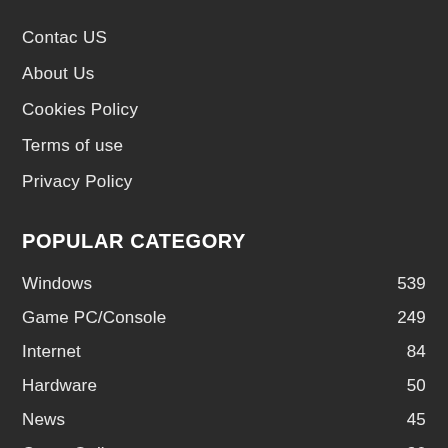Contac US
About Us
Cookies Policy
Terms of use
Privacy Policy
POPULAR CATEGORY
Windows 539
Game PC/Console 249
Internet 84
Hardware 50
News 45
Game Online 36
Office 30